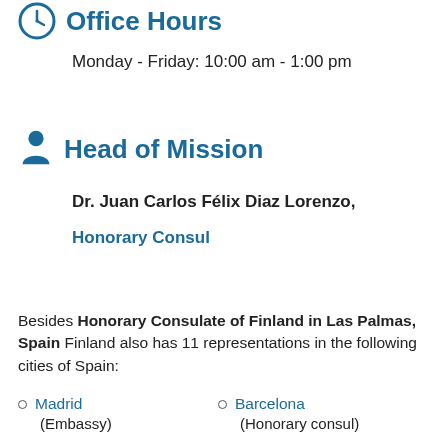Office Hours
Monday - Friday: 10:00 am - 1:00 pm
Head of Mission
Dr. Juan Carlos Félix Diaz Lorenzo,
Honorary Consul
Besides Honorary Consulate of Finland in Las Palmas, Spain Finland also has 11 representations in the following cities of Spain:
Madrid (Embassy)
Barcelona (Honorary consul)